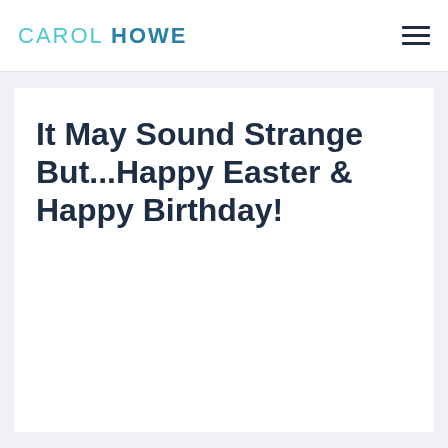CAROL HOWE
It May Sound Strange But...Happy Easter & Happy Birthday!